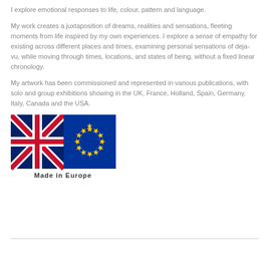I explore emotional responses to life, colour, pattern and language.
My work creates a juxtaposition of dreams, realities and sensations, fleeting moments from life inspired by my own experiences. I explore a sense of empathy for existing across different places and times, examining personal sensations of deja-vu, while moving through times, locations, and states of being, without a fixed linear chronology.
My artwork has been commissioned and represented in various publications, with solo and group exhibitions showing in the UK, France, Holland, Spain, Germany, Italy, Canada and the USA.
[Figure (logo): Made in Europe logo showing UK flag and EU flag side by side with text 'Made in Europe' below]